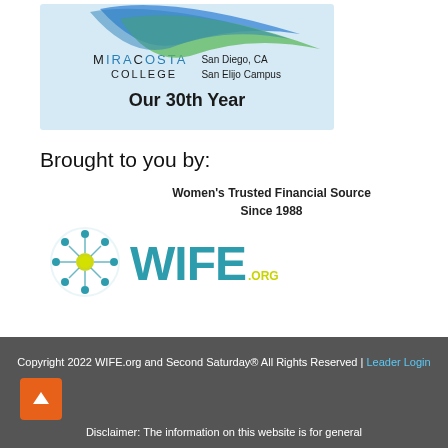[Figure (logo): MiraCosta College logo with blue swoosh design, text reads MiraCosta College, San Diego CA, San Elijo Campus, Our 30th Year, on light blue background]
Brought to you by:
[Figure (logo): WIFE.org logo with circular people icon and teal WIFE text with yellow-green .ORG, tagline: Women's Trusted Financial Source Since 1988]
Copyright 2022 WIFE.org and Second Saturday® All Rights Reserved | Leader Login
Disclaimer: The information on this website is for general